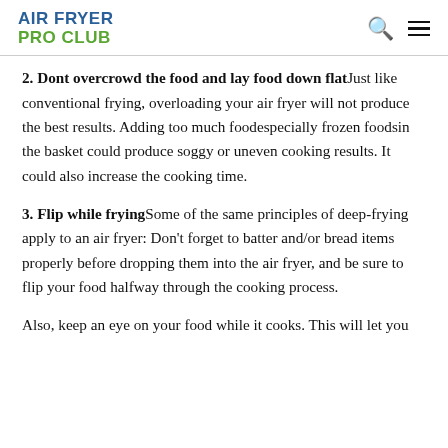AIR FRYER PRO CLUB
2. Dont overcrowd the food and lay food down flat Just like conventional frying, overloading your air fryer will not produce the best results. Adding too much foodespecially frozen foodsin the basket could produce soggy or uneven cooking results. It could also increase the cooking time.
3. Flip while frying Some of the same principles of deep-frying apply to an air fryer: Don't forget to batter and/or bread items properly before dropping them into the air fryer, and be sure to flip your food halfway through the cooking process.
Also, keep an eye on your food while it cooks. This will let you